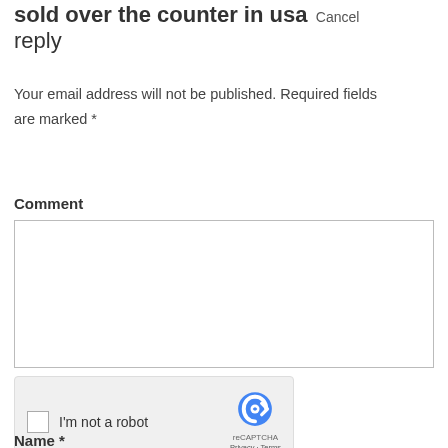sold over the counter in usa Cancel reply
Your email address will not be published. Required fields are marked *
Comment
[Figure (screenshot): Comment text area input box (empty)]
[Figure (screenshot): reCAPTCHA widget with checkbox labeled I'm not a robot]
Name *